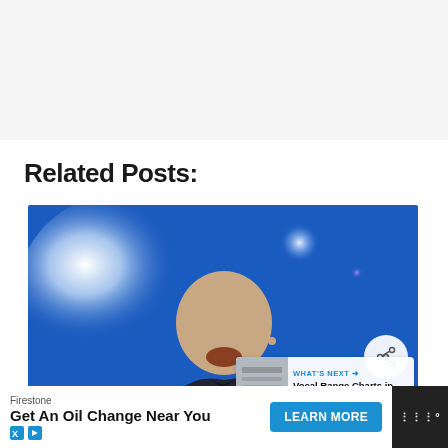Related Posts:
[Figure (photo): A bald man speaking on stage with a microphone earpiece, mouth open, wearing a dark suit and bow tie. Blue stage lighting with bright spotlights in the background. A share button (circular with share icon) overlaid top-right. A 'WHAT'S NEXT' overlay box showing 'Vocal Range Charts in 20...' with a thumbnail.]
[Figure (other): Advertisement bar at bottom: Firestone brand ad reading 'Get An Oil Change Near You' with a 'LEARN MORE' button, AdChoices icons, and a dark logo panel on the right with 'IIII°' text.]